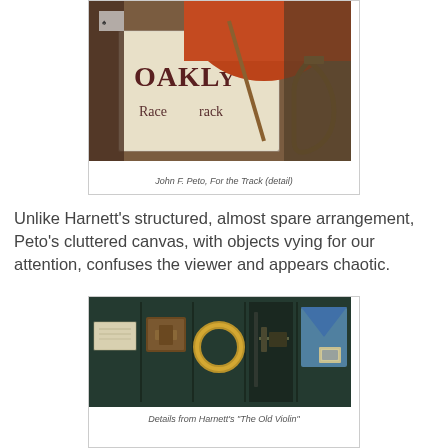[Figure (photo): Detail of John F. Peto painting 'For the Track' showing a red cap, a sign reading 'OAKLY Race Track', and a metal stirrup]
John F. Peto, For the Track (detail)
Unlike Harnett's structured, almost spare arrangement, Peto's cluttered canvas, with objects vying for our attention, confuses the viewer and appears chaotic.
[Figure (photo): Five detail panels from Harnett's 'The Old Violin' showing close-up sections of the painting including a label, hinges, a ring, a lock, and an envelope against a dark green background]
Details from Harnett's "The Old Violin"